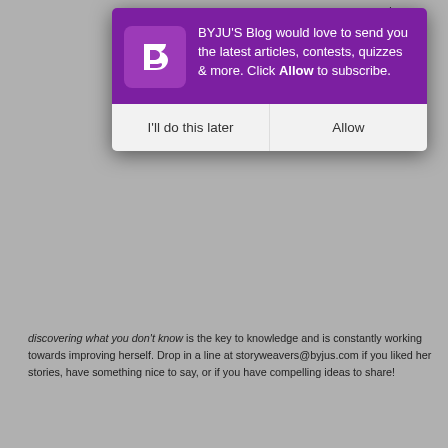ands from her motion k, h, and a
[Figure (screenshot): BYJU'S Blog push notification modal with purple header containing BYJU's logo and message 'BYJU'S Blog would love to send you the latest articles, contests, quizzes & more. Click Allow to subscribe.' with two buttons: 'I'll do this later' and 'Allow']
discovering what you don't know is the key to knowledge and is constantly working towards improving herself. Drop in a line at storyweavers@byjus.com if you liked her stories, have something nice to say, or if you have compelling ideas to share!
🏷 BYJU'S early learn
🏷 early learn
🏷 math
🏷 student story
🏷 young gymnast
Leave a Comment